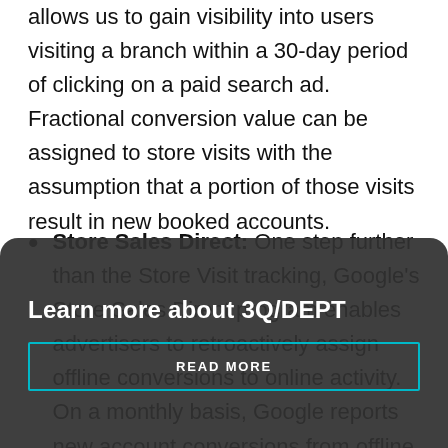allows us to gain visibility into users visiting a branch within a 30-day period of clicking on a paid search ad. Fractional conversion value can be assigned to store visits with the assumption that a portion of those visits result in new booked accounts.
Store Sales Direct: One step further than the Store Visit tracking, Google's Store Sales Direct program enables advertisers to retroactively assign offline conversions to online activity. On a monthly basis, Google reports new account conversions from offline activity back to the specific campaigns